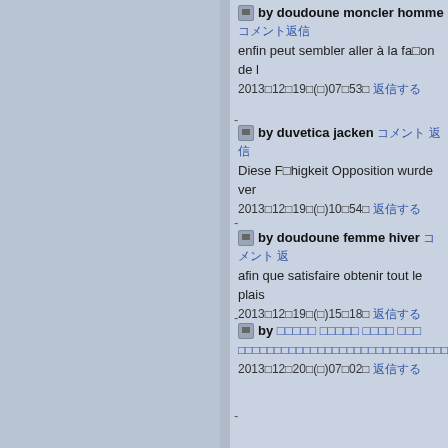by doudoune moncler homme [CJK text] — enfin peut sembler aller à la façon de... 2013年12月19日(木)07時53分 [link]
by duvetica jacken [CJK text] — Diese Fähigkeit Opposition wurde ver... 2013年12月19日(木)10時54分 [link]
by doudoune femme hiver [CJK text] — afin que satisfaire obtenir tout le plais... 2013年12月19日(木)15時18分 [link]
by [CJK text] — [CJK text] 2013年12月20日(金)07時02分 [link]
by Bad Boy Good Girl Caps [CJK text] — Wann immer Sie Ihre negativen Gefü... 2013年12月20日(金)11時17分 [link]
by [CJK text]